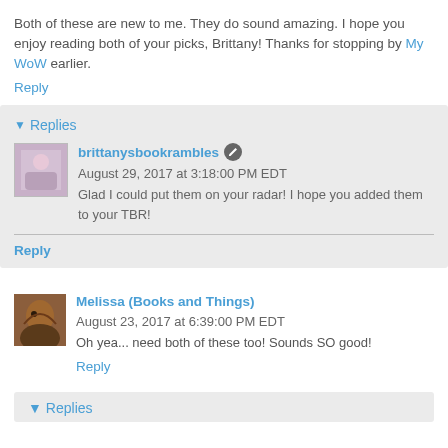Both of these are new to me. They do sound amazing. I hope you enjoy reading both of your picks, Brittany! Thanks for stopping by My WoW earlier.
Reply
Replies
brittanysbookrambles August 29, 2017 at 3:18:00 PM EDT
Glad I could put them on your radar! I hope you added them to your TBR!
Reply
Melissa (Books and Things) August 23, 2017 at 6:39:00 PM EDT
Oh yea... need both of these too! Sounds SO good!
Reply
Replies